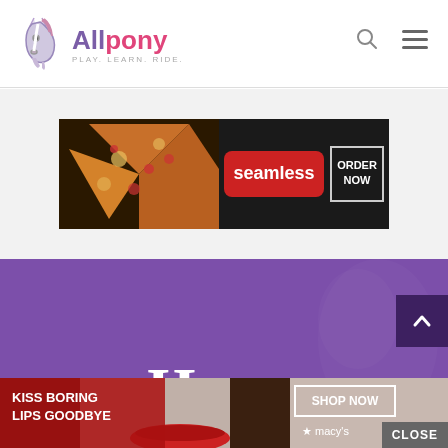[Figure (logo): Allpony logo with horse head icon and text 'Allpony - PLAY. LEARN. RIDE.']
[Figure (screenshot): Seamless food delivery advertisement banner showing pizza with red 'seamless' button and 'ORDER NOW' in white outlined box on dark background]
[Figure (screenshot): Purple hero section with large white text 'Horse' and partial second word, with faint horse silhouette overlay. Dark purple scroll-up arrow button on right. Gray 'CLOSE' button overlay.]
[Figure (screenshot): Macy's advertisement at bottom: 'KISS BORING LIPS GOODBYE' with woman's face showing red lips, 'SHOP NOW' button and Macy's star logo]